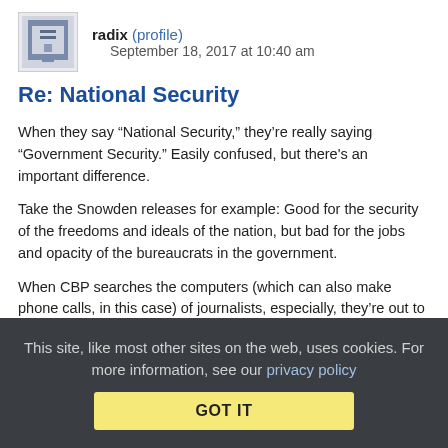radix (profile)  September 18, 2017 at 10:40 am
Re: National Security
When they say “National Security,” they’re really saying “Government Security.” Easily confused, but there’s an important difference.
Take the Snowden releases for example: Good for the security of the freedoms and ideals of the nation, but bad for the jobs and opacity of the bureaucrats in the government.
When CBP searches the computers (which can also make phone calls, in this case) of journalists, especially, they’re out to protect the government, not the Constitution that government claims to protect.
This site, like most other sites on the web, uses cookies. For more information, see our privacy policy  GOT IT